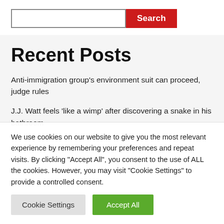[Figure (other): Search bar with text input field and red Search button]
Recent Posts
Anti-immigration group’s environment suit can proceed, judge rules
J.J. Watt feels ‘like a wimp’ after discovering a snake in his bathroom
We use cookies on our website to give you the most relevant experience by remembering your preferences and repeat visits. By clicking “Accept All”, you consent to the use of ALL the cookies. However, you may visit “Cookie Settings” to provide a controlled consent.